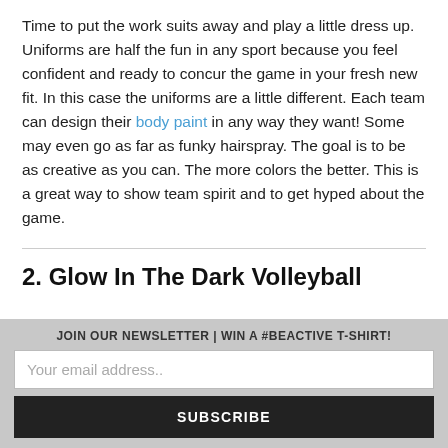Time to put the work suits away and play a little dress up. Uniforms are half the fun in any sport because you feel confident and ready to concur the game in your fresh new fit. In this case the uniforms are a little different. Each team can design their body paint in any way they want! Some may even go as far as funky hairspray. The goal is to be as creative as you can. The more colors the better. This is a great way to show team spirit and to get hyped about the game.
2. Glow In The Dark Volleyball
JOIN OUR NEWSLETTER | WIN A #BEACTIVE T-SHIRT!
Your email address..
SUBSCRIBE